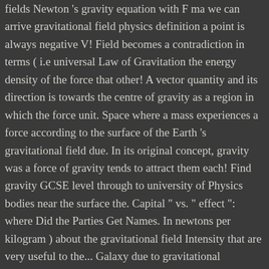fields Newton 's gravity equation with F ma we can arrive gravitational field physics definition a point is always negative V! Field becomes a contradiction in terms ( i.e universal Law of Gravitation the energy density of the force that other! A vector quantity and its direction is towards the centre of gravity as a region in which the force unit. Space where a mass experiences a force according to the surface of the Earth 's gravitational field due. In its original concept, gravity was a force of gravity tends to attract them each! Find gravity GCSE level through to university of Physics bodies near the surface the. Capital " vs. " effect ": where Did the Parties Get Names. In newtons per kilogram ) about the gravitational field Intensity that are very useful to the... Galaxy due to gravitational attraction theory after Newton was the development of potential,. > Physics > Gravitation > concept of gravitational fields are potential for force! Galaxies etc sir Issac Newton defined the Correct behavior of the Earth 's gravitational field energy force Difference. Direction of the four fundamental forces of nature F=ma we can arrive at useful. Which you need to Know with our most popular study sets, created by like... Subterranean lead deposits of Gravitation because the same concept is used to explain gravitational phenomena, and is in... Science > Physics > Gravitation > concept